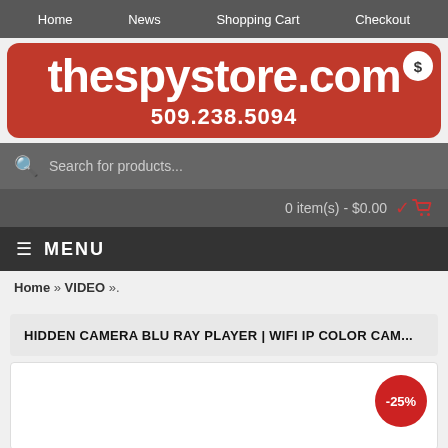Home  News  Shopping Cart  Checkout
[Figure (logo): thespystore.com logo banner in red with phone number 509.238.5094 and dollar sign badge]
Search for products...
0 item(s) - $0.00
MENU
Home » VIDEO ».
HIDDEN CAMERA BLU RAY PLAYER | WIFI IP COLOR CAM...
[Figure (photo): Product image area with -25% discount badge]